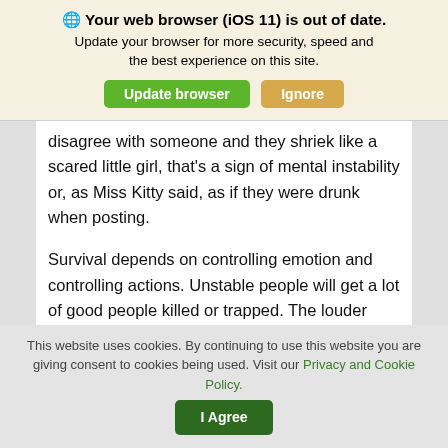🌐 Your web browser (iOS 11) is out of date. Update your browser for more security, speed and the best experience on this site.
disagree with someone and they shriek like a scared little girl, that's a sign of mental instability or, as Miss Kitty said, as if they were drunk when posting.
Survival depends on controlling emotion and controlling actions. Unstable people will get a lot of good people killed or trapped. The louder someone is, the meaner, the less stable they are. It's a sign of a loser.
This website uses cookies. By continuing to use this website you are giving consent to cookies being used. Visit our Privacy and Cookie Policy.